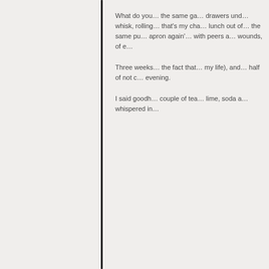What do you… the same ga… drawers und… whisk, rolling… that's my cha… lunch out of… the same pu… apron again'… with peers a… wounds, of e…
Three weeks… the fact that… my life), and… half of not c… evening.
I said goodh… couple of tea… lime, soda a… whispered in…